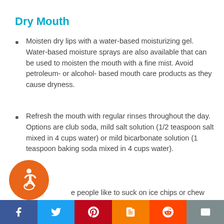Dry Mouth
Moisten dry lips with a water-based moisturizing gel. Water-based moisture sprays are also available that can be used to moisten the mouth with a fine mist. Avoid petroleum- or alcohol- based mouth care products as they cause dryness.
Refresh the mouth with regular rinses throughout the day. Options are club soda, mild salt solution (1/2 teaspoon salt mixed in 4 cups water) or mild bicarbonate solution (1 teaspoon baking soda mixed in 4 cups water).
e people like to suck on ice chips or chew sugar-